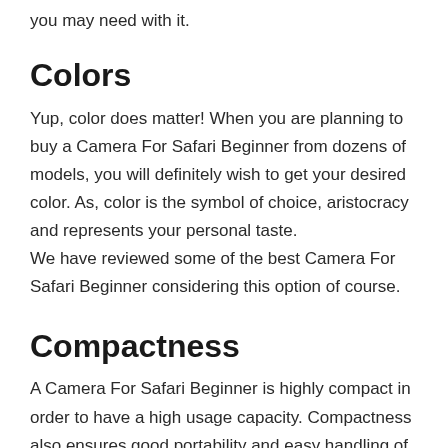you may need with it.
Colors
Yup, color does matter! When you are planning to buy a Camera For Safari Beginner from dozens of models, you will definitely wish to get your desired color. As, color is the symbol of choice, aristocracy and represents your personal taste.
We have reviewed some of the best Camera For Safari Beginner considering this option of course.
Compactness
A Camera For Safari Beginner is highly compact in order to have a high usage capacity. Compactness also ensures good portability and easy handling of